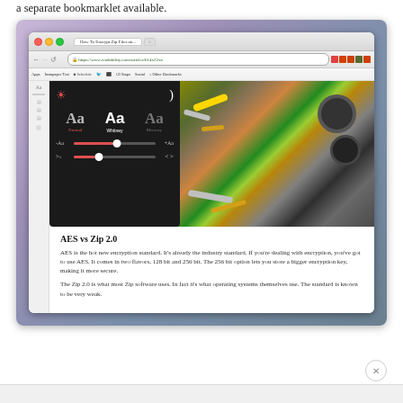a separate bookmarklet available.
[Figure (screenshot): A macOS browser window showing the Readability website displaying an article titled 'AES vs Zip 2.0'. The browser has a font/reading settings overlay panel on the left showing brightness, font choices (Normal, Whitney, Mercury), and text size/width sliders. The article content discusses AES encryption versus Zip 2.0 encryption standards.]
AES vs Zip 2.0
AES is the hot new encryption standard. It's already the industry standard. If you're dealing with encryption, you've got to use AES. It comes in two flavors, 128 bit and 256 bit. The 256 bit option lets you store a bigger encryption key, making it more secure.

The Zip 2.0 is what most Zip software uses. In fact it's what operating systems themselves use. The standard is known to be very weak.